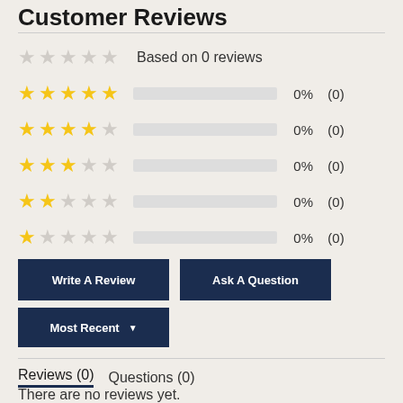Customer Reviews
Based on 0 reviews
[Figure (infographic): Star rating breakdown showing 5-star through 1-star rows each with 0% and (0) count, all bars empty]
Write A Review
Ask A Question
Most Recent ▼
Reviews (0)   Questions (0)
There are no reviews yet.